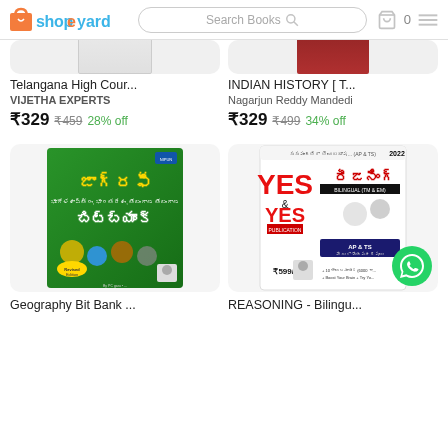shopeyard — Search Books — Cart 0
[Figure (photo): Partial top of book cover 1: Telangana High Court book, gray/white cover with Telugu script]
[Figure (photo): Partial top of book cover 2: Indian History book, dark reddish-brown cover]
Telangana High Cour...
VIJETHA EXPERTS
₹329  ₹459  28% off
INDIAN HISTORY [ T...
Nagarjun Reddy Mandedi
₹329  ₹499  34% off
[Figure (photo): Geography Bit Bank book cover: green background with Telugu script జాగ్రఫీ and బిట్‌బ్యాంక్, colorful map and nature images]
[Figure (photo): Reasoning Bilingual book cover: YES & YES Publication 2022, red/white/black, Telugu script రీజనింగ్, AP & TS, bilingual TM & EM]
Geography Bit Bank ...
REASONING - Bilingu...